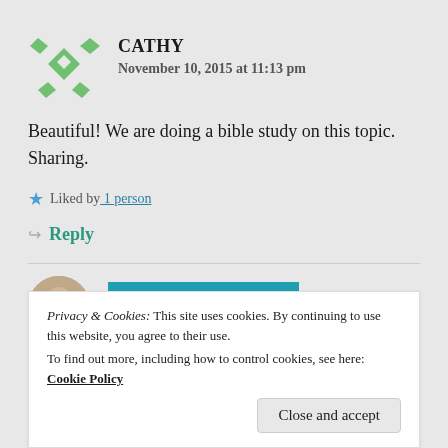CATHY
November 10, 2015 at 11:13 pm
Beautiful! We are doing a bible study on this topic. Sharing.
Liked by 1 person
Reply
YASMINAPROSSER
Privacy & Cookies: This site uses cookies. By continuing to use this website, you agree to their use.
To find out more, including how to control cookies, see here: Cookie Policy
Close and accept